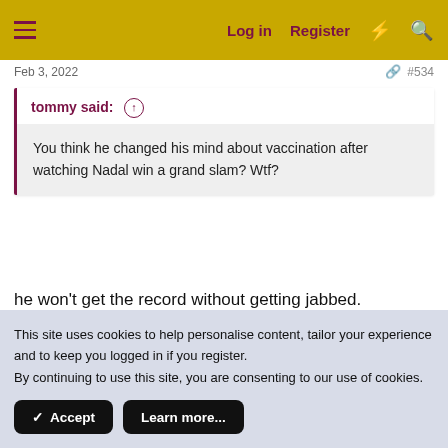Log in  Register
Feb 3, 2022  #534
tommy said: ↑
You think he changed his mind about vaccination after watching Nadal win a grand slam? Wtf?
he won't get the record without getting jabbed.
This site uses cookies to help personalise content, tailor your experience and to keep you logged in if you register.
By continuing to use this site, you are consenting to our use of cookies.